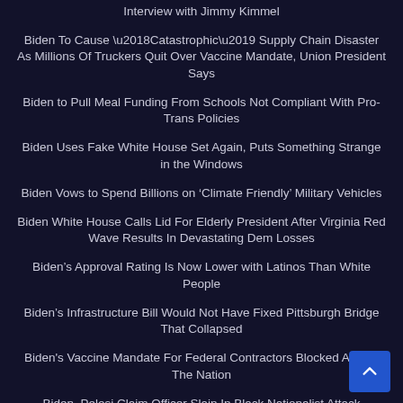Interview with Jimmy Kimmel
Biden To Cause ‘Catastrophic’ Supply Chain Disaster As Millions Of Truckers Quit Over Vaccine Mandate, Union President Says
Biden to Pull Meal Funding From Schools Not Compliant With Pro-Trans Policies
Biden Uses Fake White House Set Again, Puts Something Strange in the Windows
Biden Vows to Spend Billions on ‘Climate Friendly’ Military Vehicles
Biden White House Calls Lid For Elderly President After Virginia Red Wave Results In Devastating Dem Losses
Biden’s Approval Rating Is Now Lower with Latinos Than White People
Biden’s Infrastructure Bill Would Not Have Fixed Pittsburgh Bridge That Collapsed
Biden's Vaccine Mandate For Federal Contractors Blocked Across The Nation
Biden, Pelosi Claim Officer Slain In Black Nationalist Attack